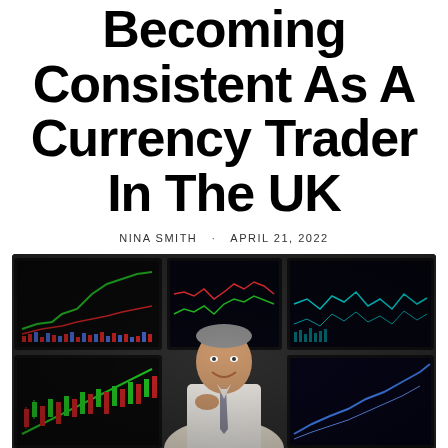Becoming Consistent As A Currency Trader In The UK
NINA SMITH   APRIL 21, 2022
[Figure (photo): A smiling middle-aged man in a white shirt and tie sitting in front of multiple trading monitors displaying currency charts and financial data.]